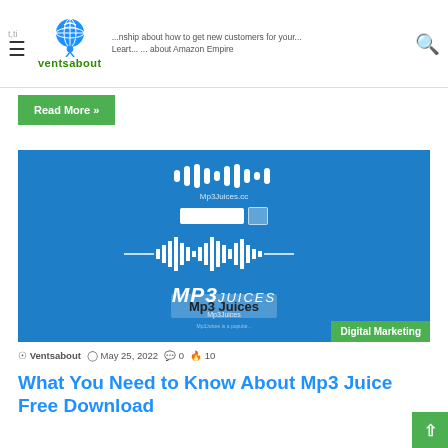ventsabout
Read More »
[Figure (screenshot): Screenshot of Mp3 Juices website with blue background showing waveform logo, search bar, and MP3JUICES branding with Digital Marketing badge]
Ventsabout  May 25, 2022  0  10
What You Need to Know About Mp3 Juice Free Download